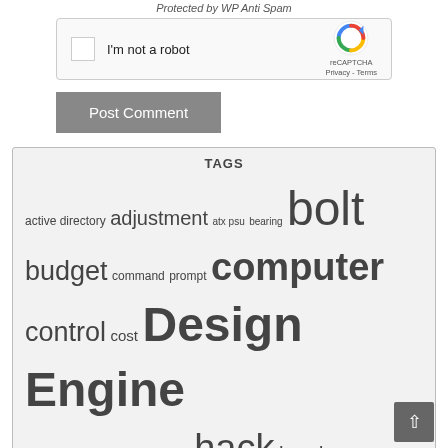Protected by WP Anti Spam
[Figure (other): reCAPTCHA widget with checkbox labeled 'I'm not a robot', reCAPTCHA logo, Privacy and Terms links]
Post Comment
TAGS
active directory adjustment atx psu bearing bolt budget command prompt computer control cost Design Engine equipment flash Generator hack head Home Made Homemade images internet junk Lathe life of riley LOR machine Macro mains make microsoft office motorbike msi project pulley regsvr32 shaft Sharepoint simple software microsoft temperature washing machine webcomic wheel Windows 7 Wood